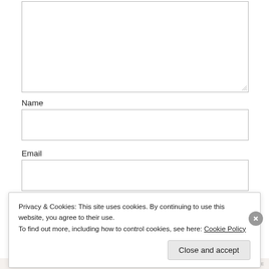[Figure (screenshot): A web form showing a large textarea with resize handle, followed by Name and Email text input fields, and a partially visible Website label. A cookie consent banner overlays the bottom portion of the page.]
Name
Email
Website
Privacy & Cookies: This site uses cookies. By continuing to use this website, you agree to their use.
To find out more, including how to control cookies, see here: Cookie Policy
Close and accept